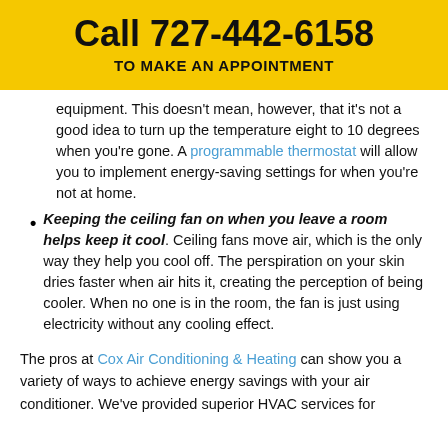Call 727-442-6158
TO MAKE AN APPOINTMENT
equipment. This doesn't mean, however, that it's not a good idea to turn up the temperature eight to 10 degrees when you're gone. A programmable thermostat will allow you to implement energy-saving settings for when you're not at home.
Keeping the ceiling fan on when you leave a room helps keep it cool. Ceiling fans move air, which is the only way they help you cool off. The perspiration on your skin dries faster when air hits it, creating the perception of being cooler. When no one is in the room, the fan is just using electricity without any cooling effect.
The pros at Cox Air Conditioning & Heating can show you a variety of ways to achieve energy savings with your air conditioner. We've provided superior HVAC services for